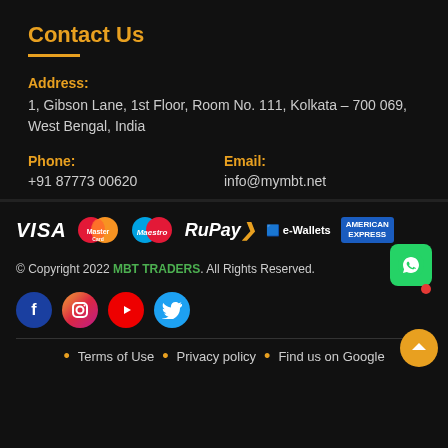Contact Us
Address:
1, Gibson Lane, 1st Floor, Room No. 111, Kolkata – 700 069, West Bengal, India
Phone: +91 87773 00620
Email: info@mymbt.net
[Figure (logo): Payment method logos: VISA, MasterCard, Maestro, RuPay, e-Wallets, American Express]
© Copyright 2022 MBT TRADERS. All Rights Reserved.
[Figure (illustration): Social media icons: Facebook, Instagram, YouTube, Twitter]
Terms of Use • Privacy policy • Find us on Google